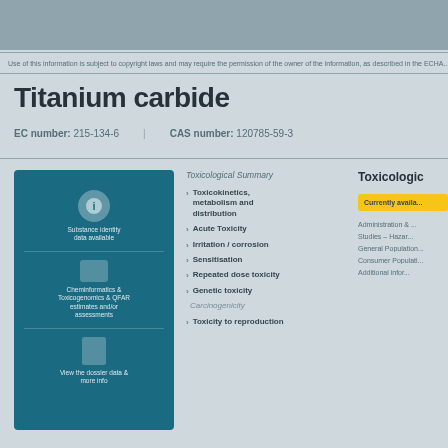Use of this information is subject to copyright laws and may require the permission...
Titanium carbide
EC number: 215-134-6 | CAS number: 120785-59-3
[Figure (infographic): Blue panel with three sections: info icon with text about substance identity, database icon for Cheminformatics & toxicogenomics & Ames mutagenicity assessments, document icon for View the dossier data & more info]
Toxicological Summary
Toxicokinetics, metabolism and distribution
Acute Toxicity
Irritation / corrosion
Sensitisation
Repeated dose toxicity
Genetic toxicity
Carcinogenicity
Toxicity to reproduction
Toxicologic...
Currently available...
Administration & ...
Studies – Haza...
General Population...
Consumer Population...
Additional infor...